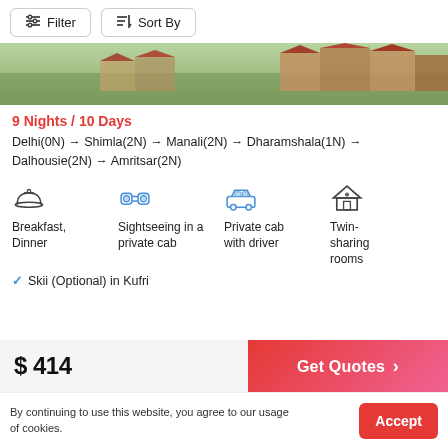Filter  Sort By
[Figure (photo): Aerial view of hillside town with red-roofed buildings and green trees]
9 Nights / 10 Days
Delhi(0N) → Shimla(2N) → Manali(2N) → Dharamshala(1N) → Dalhousie(2N) → Amritsar(2N)
[Figure (infographic): Four amenity icons: Breakfast/Dinner, Sightseeing in a private cab, Private cab with driver, Twin-sharing rooms]
Skii (Optional) in Kufri
$ 414
Get Quotes >
By continuing to use this website, you agree to our usage of cookies.
Accept